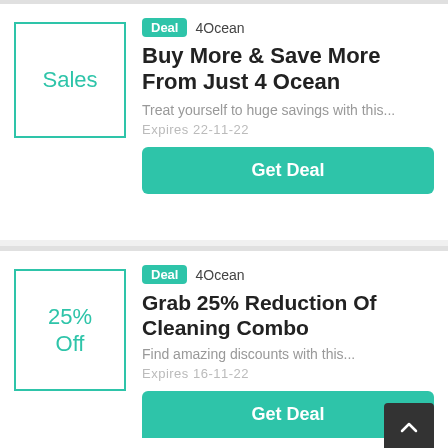[Figure (other): Sales label box with teal border]
Deal  4Ocean
Buy More & Save More From Just 4 Ocean
Treat yourself to huge savings with this...
Expires 22-11-22
Get Deal
[Figure (other): 25% Off label box with teal border]
Deal  4Ocean
Grab 25% Reduction Of Cleaning Combo
Find amazing discounts with this...
Expires 16-11-22
Get Deal